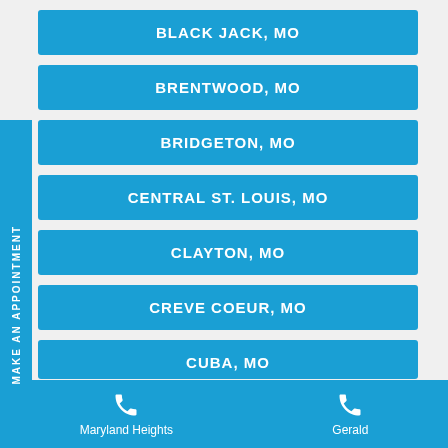BLACK JACK, MO
BRENTWOOD, MO
BRIDGETON, MO
CENTRAL ST. LOUIS, MO
CLAYTON, MO
CREVE COEUR, MO
CUBA, MO
Maryland Heights    Gerald